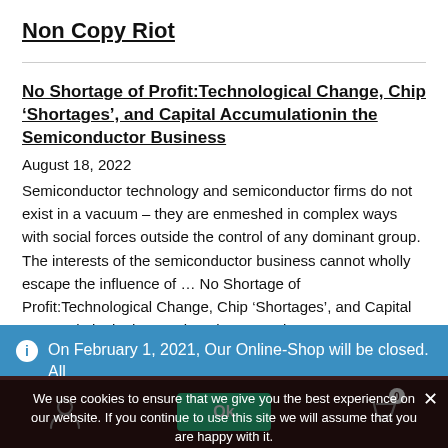Non Copy Riot
No Shortage of Profit: Technological Change, Chip ‘Shortages’, and Capital Accumulationin the Semiconductor Business
August 18, 2022
Semiconductor technology and semiconductor firms do not exist in a vacuum – they are enmeshed in complex ways with social forces outside the control of any dominant group. The interests of the semiconductor business cannot wholly escape the influence of … No Shortage of Profit: Technological Change, Chip ‘Shortages’, and Capital Accumulationin the Semiconductor Business
On February 1, 2021, Our Online-Shop will be closed. All orders until January 31 will be delivered
Dismiss
We use cookies to ensure that we give you the best experience on our website. If you continue to use this site we will assume that you are happy with it.
Ok